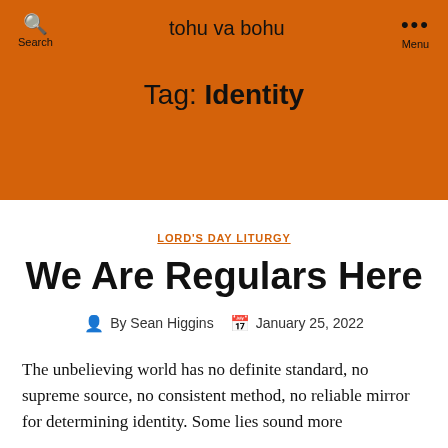tohu va bohu
Tag: Identity
LORD'S DAY LITURGY
We Are Regulars Here
By Sean Higgins  January 25, 2022
The unbelieving world has no definite standard, no supreme source, no consistent method, no reliable mirror for determining identity. Some lies sound more